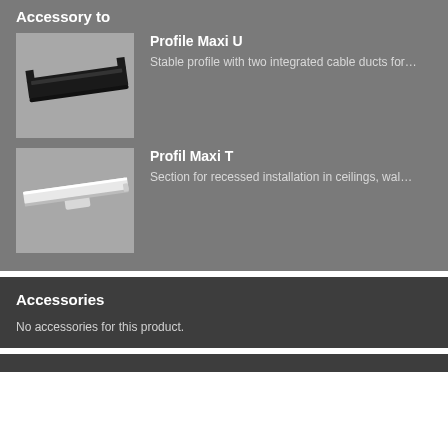Accessory to
[Figure (photo): Black U-shaped aluminum profile rail, photographed diagonally on grey background]
Profile Maxi U
Stable profile with two integrated cable ducts for…
[Figure (photo): White T-shaped aluminum profile rail, photographed diagonally on grey background]
Profil Maxi T
Section for recessed installation in ceilings, wal…
Accessories
No accessories for this product.